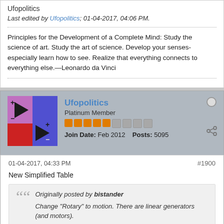Ufopolitics
Last edited by Ufopolitics; 01-04-2017, 04:06 PM.
Principles for the Development of a Complete Mind: Study the science of art. Study the art of science. Develop your senses- especially learn how to see. Realize that everything connects to everything else.—Leonardo da Vinci
Ufopolitics
Platinum Member
Join Date: Feb 2012   Posts: 5095
01-04-2017, 04:33 PM
#1900
New Simplified Table
Originally posted by bistander
Change "Rotary" to motion. There are linear generators (and motors).